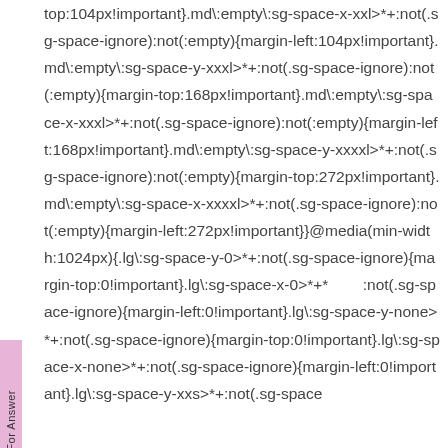top:104px!important}.md\:empty\:sg-space-x-xxl>*+:not(.sg-space-ignore):not(:empty){margin-left:104px!important}.md\:empty\:sg-space-y-xxxl>*+:not(.sg-space-ignore):not(:empty){margin-top:168px!important}.md\:empty\:sg-space-x-xxxl>*+:not(.sg-space-ignore):not(:empty){margin-left:168px!important}.md\:empty\:sg-space-y-xxxxl>*+:not(.sg-space-ignore):not(:empty){margin-top:272px!important}.md\:empty\:sg-space-x-xxxxl>*+:not(.sg-space-ignore):not(:empty){margin-left:272px!important}}@media(min-width:1024px){.lg\:sg-space-y-0>*+:not(.sg-space-ignore){margin-top:0!important}.lg\:sg-space-x-0>*+*        :not(.sg-space-ignore){margin-left:0!important}.lg\:sg-space-y-none>*+:not(.sg-space-ignore){margin-top:0!important}.lg\:sg-space-x-none>*+:not(.sg-space-ignore){margin-left:0!important}.lg\:sg-space-y-xxs>*+:not(.sg-space